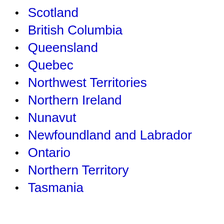Scotland
British Columbia
Queensland
Quebec
Northwest Territories
Northern Ireland
Nunavut
Newfoundland and Labrador
Ontario
Northern Territory
Tasmania